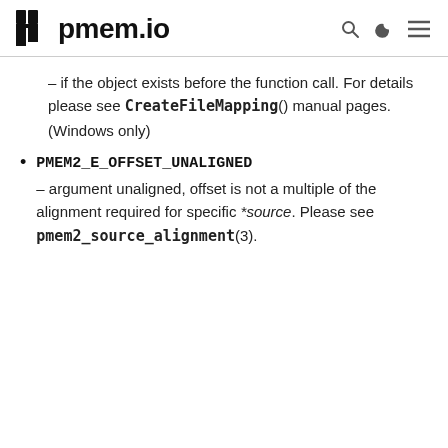pmem.io
- if the object exists before the function call. For details please see CreateFileMapping() manual pages. (Windows only)
PMEM2_E_OFFSET_UNALIGNED - argument unaligned, offset is not a multiple of the alignment required for specific *source. Please see pmem2_source_alignment(3).